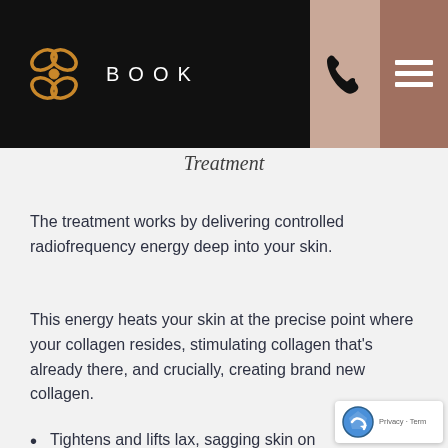BOOK
Treatment
The treatment works by delivering controlled radiofrequency energy deep into your skin.
This energy heats your skin at the precise point where your collagen resides, stimulating collagen that’s already there, and crucially, creating brand new collagen.
Tightens and lifts lax, sagging skin on the